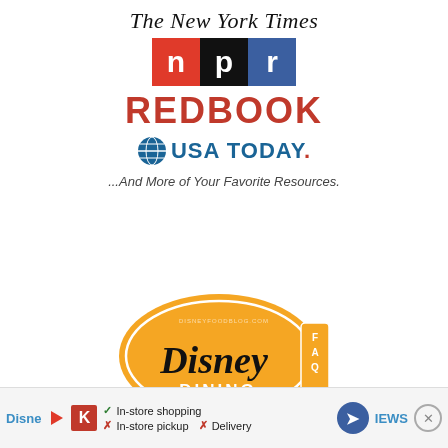[Figure (logo): The New York Times masthead logo in blackletter serif font]
[Figure (logo): NPR logo: three colored blocks — red N, black P, blue R]
[Figure (logo): REDBOOK logo in bold red capital letters]
[Figure (logo): USA TODAY logo with blue globe icon and blue/red lettering]
...And More of Your Favorite Resources.
[Figure (logo): Disney Dining FAQ logo: orange oval badge with Disney script lettering and 'DINING' text, FAQ on side, disneyfoodblog.com watermark]
Disney | In-store shopping | In-store pickup X Delivery | NEWS X